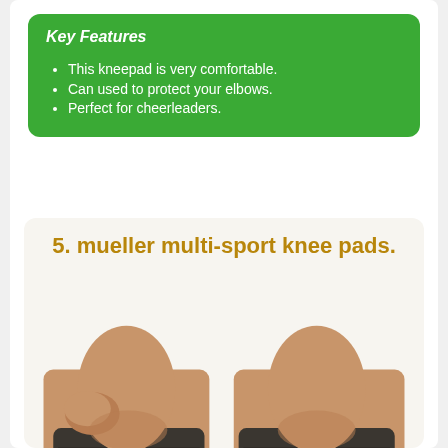Key Features
This kneepad is very comfortable.
Can used to protect your elbows.
Perfect for cheerleaders.
5. mueller multi-sport knee pads.
[Figure (photo): Two Mueller brand knee pads worn on knees, shown from behind with hands gripping them. Dark gray fabric with Mueller logo in white.]